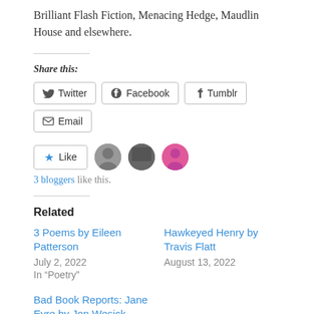Brilliant Flash Fiction, Menacing Hedge, Maudlin House and elsewhere.
Share this:
Twitter  Facebook  Tumblr  Email
Like  3 bloggers like this.
Related
3 Poems by Eileen Patterson
July 2, 2022
In "Poetry"
Hawkeyed Henry by Travis Flatt
August 13, 2022
Bad Book Reports: Jane Eyre by Jon Wesick
July 16, 2022